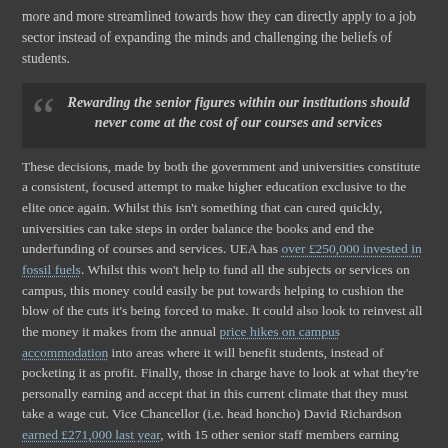more and more streamlined towards how they can directly apply to a job sector instead of expanding the minds and challenging the beliefs of students.
Rewarding the senior figures within our institutions should never come at the cost of our courses and services
These decisions, made by both the government and universities constitute a consistent, focused attempt to make higher education exclusive to the elite once again. Whilst this isn't something that can cured quickly, universities can take steps in order balance the books and end the underfunding of courses and services. UEA has over £250,000 invested in fossil fuels. Whilst this won't help to fund all the subjects or services on campus, this money could easily be put towards helping to cushion the blow of the cuts it's being forced to make. It could also look to reinvest all the money it makes from the annual price hikes on campus accommodation into areas where it will benefit students, instead of pocketing it as profit. Finally, those in charge have to look at what they're personally earning and accept that in this current climate that they must take a wage cut. Vice Chancellor (i.e. head honcho) David Richardson earned £271,000 last year, with 15 other senior staff members earning more than £100,000. Rewarding the senior figures within our institutions should